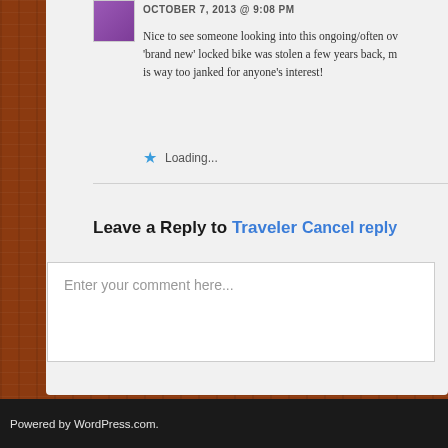OCTOBER 7, 2013 @ 9:08 PM
Nice to see someone looking into this ongoing/often ov 'brand new' locked bike was stolen a few years back, m is way too janked for anyone's interest!
Loading...
Leave a Reply to Traveler Cancel reply
Enter your comment here...
Powered by WordPress.com.